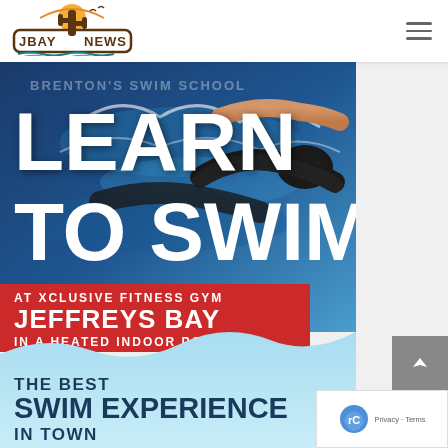JBAY NEWS
[Figure (infographic): Advertisement for Brenton's Swim School. Background shows a swimmer doing freestyle/crawl stroke in a pool. Large white bold text reads 'LEARN TO SWIM' over a dark blue pool background. Red banner reads 'AT XCLUSIVE FITNESS GYM JEFFREYS BAY IN A HEATED INDOOR POOL'. Lower light blue wave section reads 'THE BEST SWIM EXPERIENCE IN TOWN. FOR AGES 2YRS AND OLDER - LEARN TO SWIM'.]